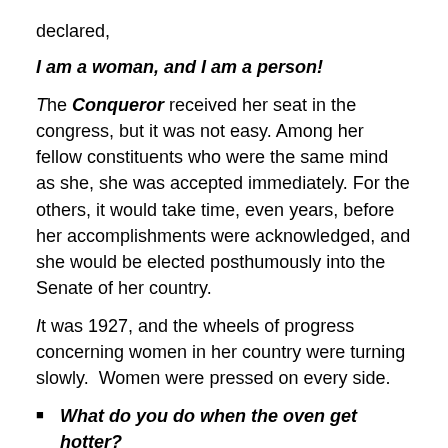declared,
I am a woman, and I am a person!
The Conqueror received her seat in the congress, but it was not easy. Among her fellow constituents who were the same mind as she, she was accepted immediately. For the others, it would take time, even years, before her accomplishments were acknowledged, and she would be elected posthumously into the Senate of her country.
It was 1927, and the wheels of progress concerning women in her country were turning slowly.  Women were pressed on every side.
What do you do when the oven get hotter?
Do you sit back and glory on what you have done?
Or do you stand up and fight until every right and